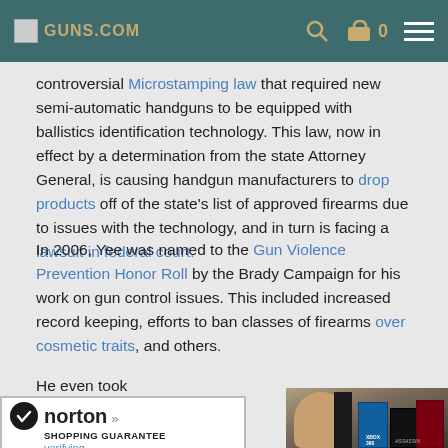GUNS.COM  [search icon] [cart] 0 [menu]
controversial Microstamping law that required new semi-automatic handguns to be equipped with ballistics identification technology. This law, now in effect by a determination from the state Attorney General, is causing handgun manufacturers to drop products off of the state's list of approved firearms due to issues with the technology, and in turn is facing a lawsuit in federal court.
In 2006, Yee was named to the Gun Violence Prevention Honor Roll by the Brady Campaign for his work on gun control issues. This included increased record keeping, efforts to ban classes of firearms over cosmetic traits, and others.
He even took
[Figure (photo): Photo of a man, possibly Yee, with video game boxes visible in background]
[Figure (other): Norton Shopping Guarantee badge with verifying... text]